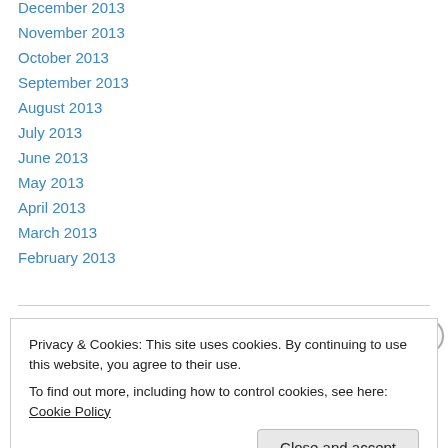December 2013
November 2013
October 2013
September 2013
August 2013
July 2013
June 2013
May 2013
April 2013
March 2013
February 2013
Privacy & Cookies: This site uses cookies. By continuing to use this website, you agree to their use. To find out more, including how to control cookies, see here: Cookie Policy
Close and accept
NRPRTCTA.AE